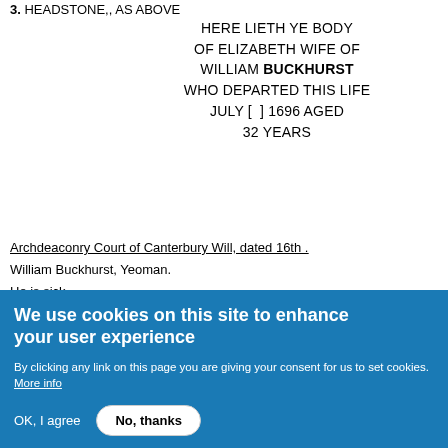3. HEADSTONE,, AS ABOVE
HERE LIETH YE BODY OF ELIZABETH WIFE OF WILLIAM BUCKHURST WHO DEPARTED THIS LIFE JULY [ ] 1696 AGED 32 YEARS
Archdeaconry Court of Canterbury Will, dated 16th .
William Buckhurst, Yeoman.
He is sick.
To daughter Susanna, all his real estate. If she di without lawful issue, then the real estate to his Shrubsall son of Thomas of Hartlip, he is to pay.
We use cookies on this site to enhance your user experience
By clicking any link on this page you are giving your consent for us to set cookies. More info
OK, I agree  No, thanks